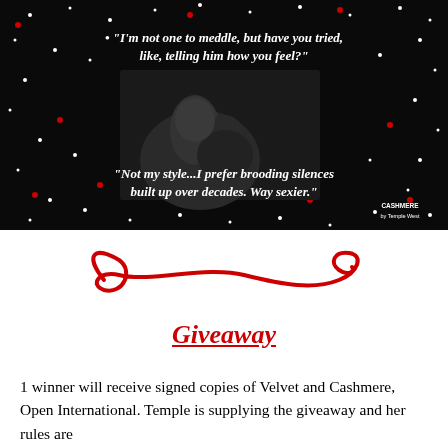[Figure (illustration): Dark background with white and red dots/stars scattered around. Center shows a black and white photo of a couple in silhouette about to kiss. Text overlaid in white serif italic font: '"I'm not one to meddle, but have you tried, like, telling him how you feel?"' and '"Not my style...I prefer brooding silences built up over decades. Way sexier."' Bottom right corner shows 'CASHMERE by Temple West' in small white text.]
[Figure (illustration): Decorative red calligraphic swirl/flourish divider]
Giveaway
1 winner will receive signed copies of Velvet and Cashmere, Open International. Temple is supplying the giveaway and her rules are